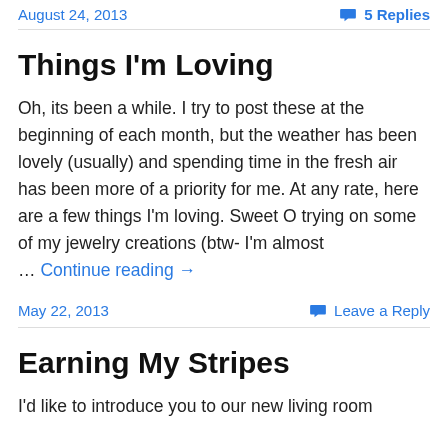August 24, 2013   5 Replies
Things I'm Loving
Oh, its been a while. I try to post these at the beginning of each month, but the weather has been lovely (usually) and spending time in the fresh air has been more of a priority for me. At any rate, here are a few things I'm loving. Sweet O trying on some of my jewelry creations (btw- I'm almost … Continue reading →
May 22, 2013   Leave a Reply
Earning My Stripes
I'd like to introduce you to our new living room